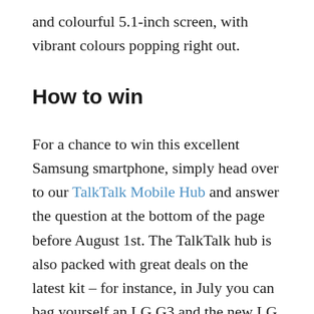and colourful 5.1-inch screen, with vibrant colours popping right out.
How to win
For a chance to win this excellent Samsung smartphone, simply head over to our TalkTalk Mobile Hub and answer the question at the bottom of the page before August 1st. The TalkTalk hub is also packed with great deals on the latest kit – for instance, in July you can bag yourself an LG G3 and the new LG G Watch from just £25 a month.
The winner of the Galaxy S5 will be announced by